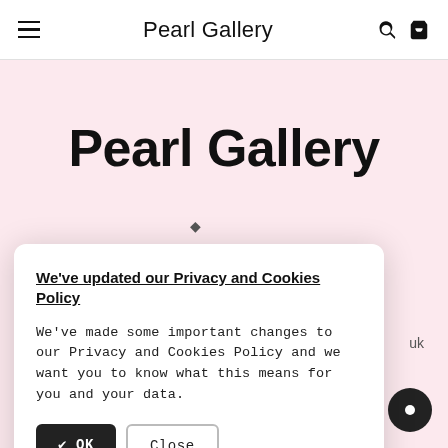Pearl Gallery
Pearl Gallery
We've updated our Privacy and Cookies Policy
We've made some important changes to our Privacy and Cookies Policy and we want you to know what this means for you and your data.
✔ OK
Close
Find out what's Changed